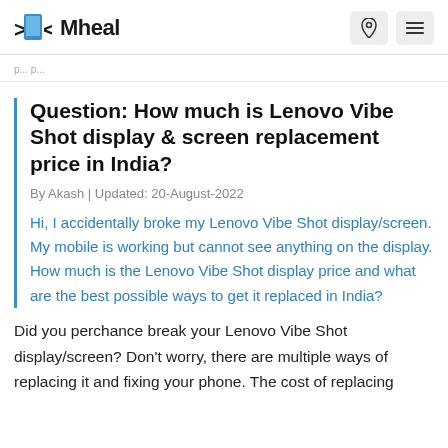Mheal
Question: How much is Lenovo Vibe Shot display & screen replacement price in India?
By Akash | Updated: 20-August-2022
Hi, I accidentally broke my Lenovo Vibe Shot display/screen. My mobile is working but cannot see anything on the display. How much is the Lenovo Vibe Shot display price and what are the best possible ways to get it replaced in India?
Did you perchance break your Lenovo Vibe Shot display/screen? Don't worry, there are multiple ways of replacing it and fixing your phone. The cost of replacing